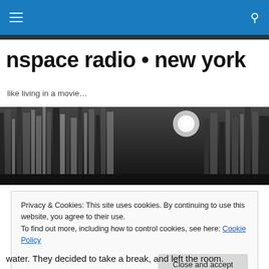nspace radio • new york [navigation bar with hamburger menu and search icon]
nspace radio • new york
like living in a movie…
[Figure (photo): Black and white blurred cityscape photo showing streaking lights, tall buildings and a glowing street lamp at night]
Privacy & Cookies: This site uses cookies. By continuing to use this website, you agree to their use.
To find out more, including how to control cookies, see here: Cookie Policy
[Close and accept button]
water. They decided to take a break, and left the room.